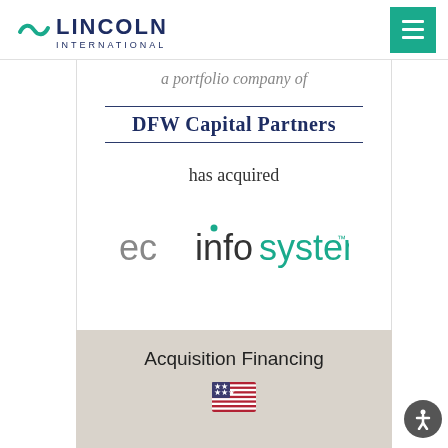[Figure (logo): Lincoln International logo with tilde icon and wordmark]
[Figure (logo): Hamburger menu button on teal/green background]
a portfolio company of
[Figure (logo): DFW Capital Partners logo with name in navy serif font and horizontal rules above and below]
has acquired
[Figure (logo): ec infosystems logo in grey and teal lowercase sans-serif text]
Acquisition Financing
[Figure (illustration): US flag emoji/icon]